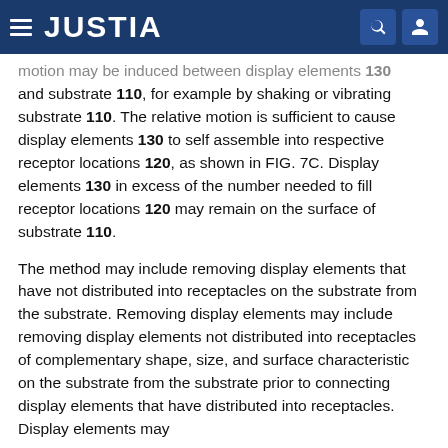JUSTIA
motion may be induced between display elements 130 and substrate 110, for example by shaking or vibrating substrate 110. The relative motion is sufficient to cause display elements 130 to self assemble into respective receptor locations 120, as shown in FIG. 7C. Display elements 130 in excess of the number needed to fill receptor locations 120 may remain on the surface of substrate 110.
The method may include removing display elements that have not distributed into receptacles on the substrate from the substrate. Removing display elements may include removing display elements not distributed into receptacles of complementary shape, size, and surface characteristic on the substrate from the substrate prior to connecting display elements that have distributed into receptacles. Display elements may be removed from the substrate by moving or